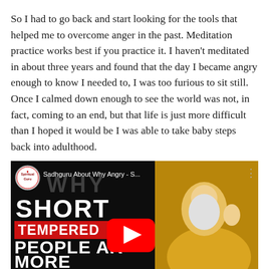So I had to go back and start looking for the tools that helped me to overcome anger in the past. Meditation practice works best if you practice it. I haven't meditated in about three years and found that the day I became angry enough to know I needed to, I was too furious to sit still. Once I calmed down enough to see the world was not, in fact, coming to an end, but that life is just more difficult than I hoped it would be I was able to take baby steps back into adulthood.
[Figure (screenshot): YouTube video thumbnail for 'Sadhguru About Why Angry - S...' by Spiritual Guru channel. Dark background with bold white text reading 'WHY SHORT TEMPERED PEOPLE AR MORE' with TEMPERED in red box. YouTube play button visible in center. A bearded sage in orange/amber robes on the right side.]